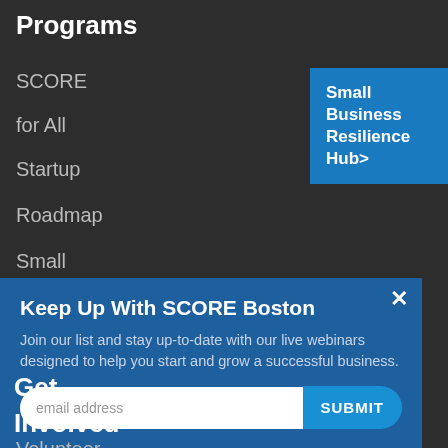Programs
SCORE
for All
Startup
Roadmap
Small
Small Business Resilience Hub>
Keep Up With SCORE Boston
Join our list and stay up-to-date with our live webinars designed to help you start and grow a successful business.
email address
SUBMIT
Get Involved
Volunteer